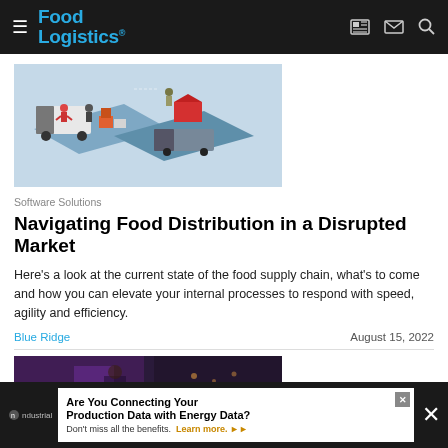Food Logistics
[Figure (illustration): Isometric illustration of food distribution logistics with delivery van, workers handling packages, and trucks on blue platform]
Software Solutions
Navigating Food Distribution in a Disrupted Market
Here's a look at the current state of the food supply chain, what's to come and how you can elevate your internal processes to respond with speed, agility and efficiency.
Blue Ridge    August 15, 2022
[Figure (photo): Photo of a worker in a warehouse/industrial setting]
[Figure (other): Advertisement banner: Are You Connecting Your Production Data with Energy Data? Don't miss all the benefits. Learn more.]